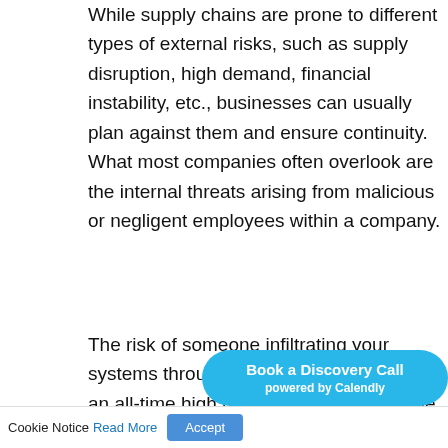While supply chains are prone to different types of external risks, such as supply disruption, high demand, financial instability, etc., businesses can usually plan against them and ensure continuity. What most companies often overlook are the internal threats arising from malicious or negligent employees within a company.
The risk of someone infiltrating your systems through an external vendor is at an all-time high not in direct control of the employees who
Cookie Notice  Read More  Accept
Book a Discovery Call powered by Calendly